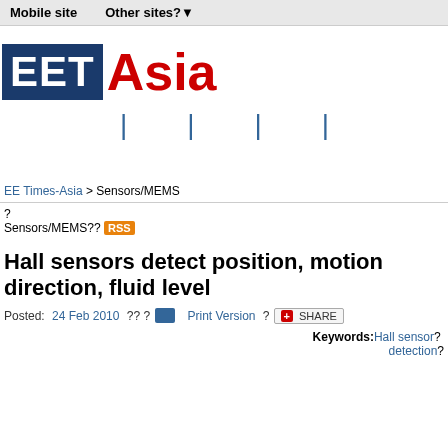Mobile site   Other sites?▼
[Figure (logo): EET Asia logo — blue box with white EET text, red Asia text]
| | | |
EE Times-Asia > Sensors/MEMS
? Sensors/MEMS?? RSS
Hall sensors detect position, motion direction, fluid level
Posted: 24 Feb 2010 ?? ? [print icon] Print Version ? [share] SHARE
Keywords: Hall sensor? detection?